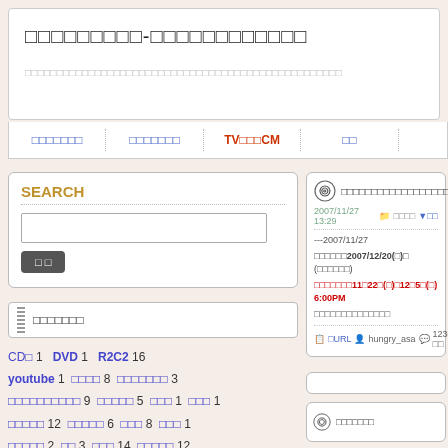□□□□□□□□□-□□□□□□□□□□□□
□□□□□□□□□□□□□□□□□□□□□□□□□□□□□□□□□□□□□□□□□
□□□□□□□ | □□□□□□□ | TV□□□CM | □□
SEARCH
CD□ 1  DVD 1  R2C2 16  youtube 1  □□□□ 8  □□□□□□□ 3  □□□□□□□□□□ 9  □□□□□ 5  □□□ 1  □□□ 1  □□□□□ 12  □□□□□ 6  □□□ 8  □□□ 1  □□□□□ 2  □□ 3  □□□ 14  □□□□□ 12  □□□□□□ 2  □□□ 1  □□ 2  □□□□□□ 6
□□□□□□□□□□□□□□□□□□□□□
2007/11/27 13:29
---2007/11/27 □□□□□□2007/12/20(□)□ (□□□□□□) □□□□□□□11□22□(□)□12□5□(□) 6:00PM □□□□□□□□□□□□□□